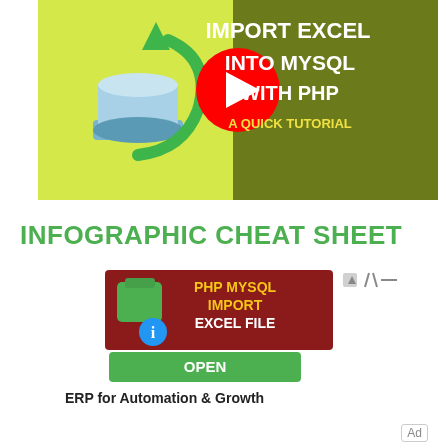[Figure (screenshot): YouTube video thumbnail showing 'Import Excel Into MySQL With PHP - A Quick Tutorial' with a database icon with green arrow on yellow-green background and YouTube play button overlay]
INFOGRAPHIC CHEAT SHEET
[Figure (screenshot): Advertisement banner showing 'PHP MySQL Import Excel File' with a green box icon and blue info icon on dark red background, with a green OPEN button below]
ERP for Automation & Growth
Ad